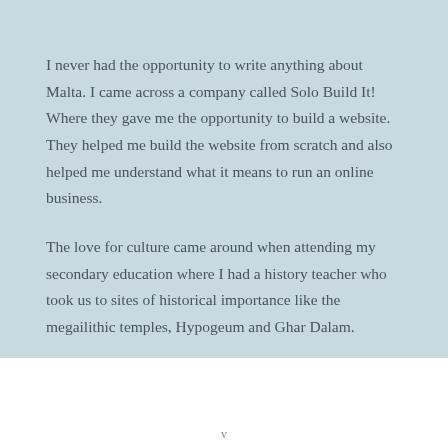I never had the opportunity to write anything about Malta. I came across a company called Solo Build It! Where they gave me the opportunity to build a website. They helped me build the website from scratch and also helped me understand what it means to run an online business.
The love for culture came around when attending my secondary education where I had a history teacher who took us to sites of historical importance like the megailithic temples, Hypogeum and Ghar Dalam.
v